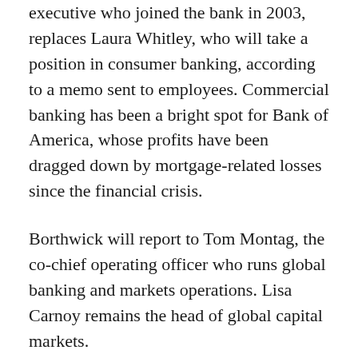executive who joined the bank in 2003, replaces Laura Whitley, who will take a position in consumer banking, according to a memo sent to employees. Commercial banking has been a bright spot for Bank of America, whose profits have been dragged down by mortgage-related losses since the financial crisis.
Borthwick will report to Tom Montag, the co-chief operating officer who runs global banking and markets operations. Lisa Carnoy remains the head of global capital markets.
Whitley, who has been with the bank more than 25 years, will become head of consumer services, operations and unsecured credit, reporting to David